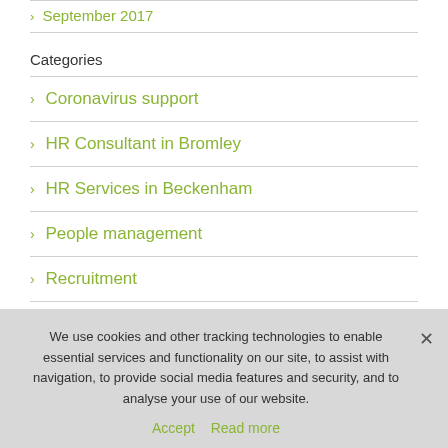> September 2017
Categories
> Coronavirus support
> HR Consultant in Bromley
> HR Services in Beckenham
> People management
> Recruitment
We use cookies and other tracking technologies to enable essential services and functionality on our site, to assist with navigation, to provide social media features and security, and to analyse your use of our website.
Accept   Read more